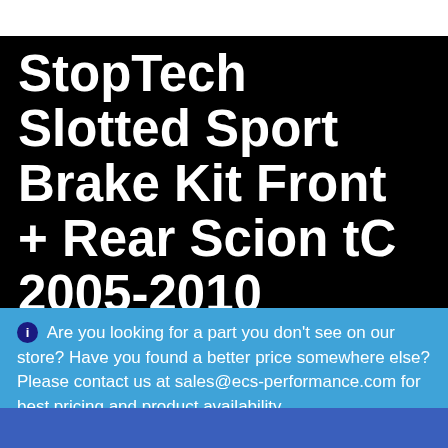[Figure (screenshot): White top bar area at the top of the page]
StopTech Slotted Sport Brake Kit Front + Rear Scion tC 2005-2010
Are you looking for a part you don't see on our store? Have you found a better price somewhere else? Please contact us at sales@ecs-performance.com for best pricing and product availability.
Dismiss
[Figure (screenshot): Quantity input box showing number 1, white rounded rectangle on black background]
[Figure (screenshot): Bottom blue banner strip]